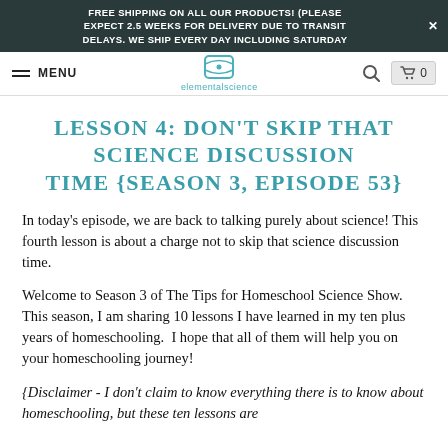FREE SHIPPING ON ALL OUR PRODUCTS! (PLEASE EXPECT 2.5 WEEKS FOR DELIVERY DUE TO TRANSIT DELAYS. WE SHIP EVERY DAY INCLUDING SATURDAY
[Figure (logo): Elemental Science logo with icon and text 'elementalscience' in teal]
LESSON 4: DON'T SKIP THAT SCIENCE DISCUSSION TIME {SEASON 3, EPISODE 53}
In today's episode, we are back to talking purely about science! This fourth lesson is about a charge not to skip that science discussion time.
Welcome to Season 3 of The Tips for Homeschool Science Show. This season, I am sharing 10 lessons I have learned in my ten plus years of homeschooling. I hope that all of them will help you on your homeschooling journey!
{Disclaimer - I don't claim to know everything there is to know about homeschooling, but these ten lessons are